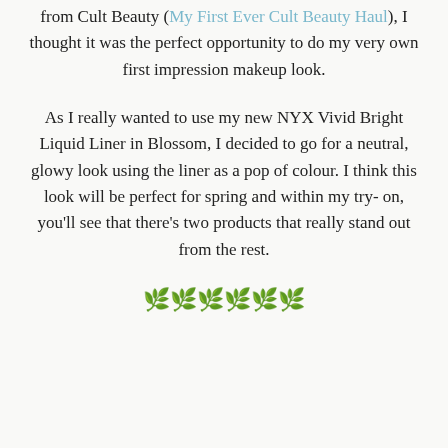from Cult Beauty (My First Ever Cult Beauty Haul), I thought it was the perfect opportunity to do my very own first impression makeup look.
As I really wanted to use my new NYX Vivid Bright Liquid Liner in Blossom, I decided to go for a neutral, glowy look using the liner as a pop of colour. I think this look will be perfect for spring and within my try-on, you'll see that there's two products that really stand out from the rest.
[Figure (illustration): A row of six small decorative floral or plant emoji icons displayed centered on the page]